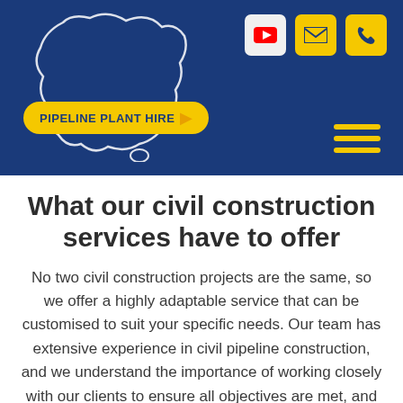[Figure (logo): Pipeline Plant Hire logo with Australia map outline and yellow badge on dark blue header background]
What our civil construction services have to offer
No two civil construction projects are the same, so we offer a highly adaptable service that can be customised to suit your specific needs. Our team has extensive experience in civil pipeline construction, and we understand the importance of working closely with our clients to ensure all objectives are met, and no detail is overlooked. That's why we take a proactive and consultative approach to every project we undertake to ensure you are well informed to make the right decision for your